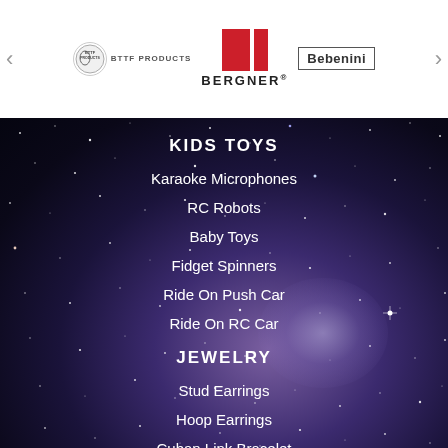[Figure (logo): Top navigation bar with BTTF Products logo on left, Bergner brand logo in center (two red rectangles with BERGNER text below), and Bebenini logo in bordered box on right, flanked by left and right arrow buttons]
KIDS TOYS
Karaoke Microphones
RC Robots
Baby Toys
Fidget Spinners
Ride On Push Car
Ride On RC Car
JEWELRY
Stud Earrings
Hoop Earrings
Cuban Link Bracelet